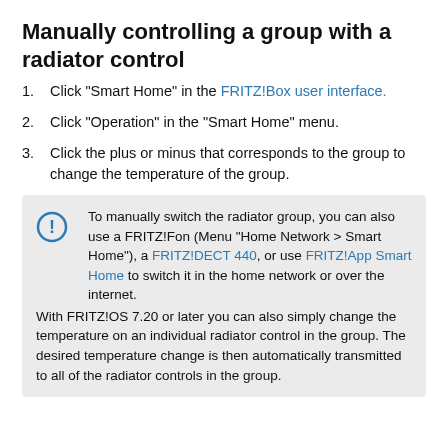Manually controlling a group with a radiator control
Click "Smart Home" in the FRITZ!Box user interface.
Click "Operation" in the "Smart Home" menu.
Click the plus or minus that corresponds to the group to change the temperature of the group.
To manually switch the radiator group, you can also use a FRITZ!Fon (Menu "Home Network > Smart Home"), a FRITZ!DECT 440, or use FRITZ!App Smart Home to switch it in the home network or over the internet. With FRITZ!OS 7.20 or later you can also simply change the temperature on an individual radiator control in the group. The desired temperature change is then automatically transmitted to all of the radiator controls in the group.